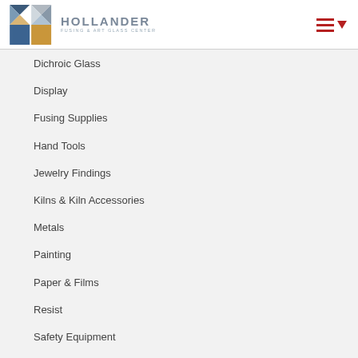HOLLANDER FUSING & ART GLASS CENTER
Dichroic Glass
Display
Fusing Supplies
Hand Tools
Jewelry Findings
Kilns & Kiln Accessories
Metals
Painting
Paper & Films
Resist
Safety Equipment
Sheet Glass
UV Lamps, Bulbs & Projectors